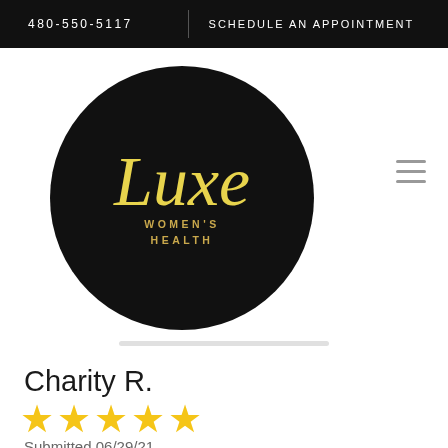480-550-5117   SCHEDULE AN APPOINTMENT
[Figure (logo): Luxe Women's Health logo — circular black badge with gold script 'Luxe' and gold text 'WOMEN'S HEALTH']
Charity R.
[Figure (infographic): 5 gold star rating]
Submitted 06/29/21